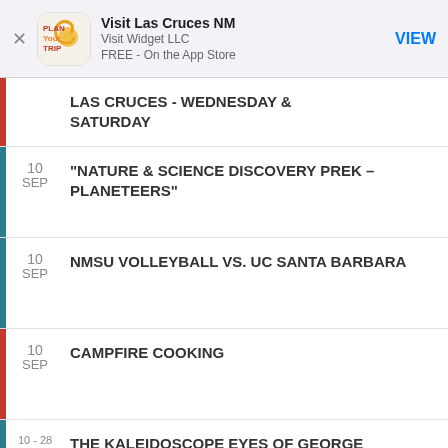[Figure (screenshot): App Store banner for Visit Las Cruces NM app by Visit Widget LLC, free on the App Store, with a VIEW button]
LAS CRUCES - WEDNESDAY & SATURDAY
10 SEP — "NATURE & SCIENCE DISCOVERY PREK – PLANETEERS"
10 SEP — NMSU VOLLEYBALL VS. UC SANTA BARBARA
10 SEP — CAMPFIRE COOKING
10 - 28 SEP — THE KALEIDOSCOPE EYES OF GEORGE MENDOZA OPENING RECEPTION
10 — NMSU LIVE THEATRE: BROADWAY...